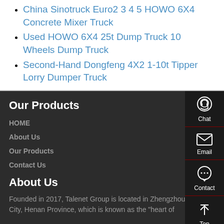China Sinotruck Euro2 3 4 5 HOWO 6X4 Concrete Mixer Truck
Used HOWO 6X4 25t Dump Truck 10 Wheels Dump Truck
Second-Hand Dongfeng 4X2 1-10t Tipper Lorry Dumper Truck
Our Products
HOME
About Us
Our Products
Contact Us
About Us
Founded in 2017, Talenet Group is located in Zhengzhou City, Henan Province, which is known as the "heart of